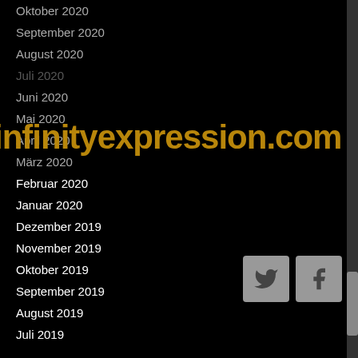Oktober 2020
September 2020
August 2020
Juli 2020
Juni 2020
Mai 2020
April 2020
März 2020
Februar 2020
Januar 2020
Dezember 2019
November 2019
Oktober 2019
September 2019
August 2019
Juli 2019
[Figure (logo): infinityexpression.com watermark in golden/dark yellow bold text overlaid on the page]
[Figure (infographic): Twitter and Facebook social media icon buttons in grey square boxes]